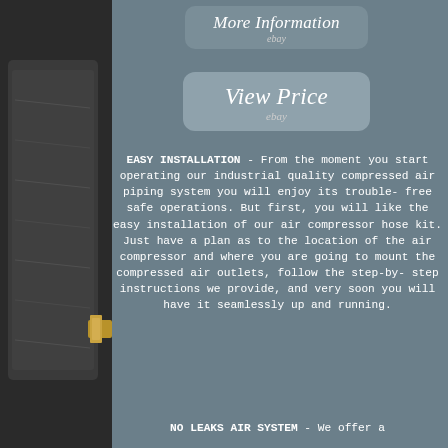[Figure (photo): Product image strip on left side showing a dark compressed air hose kit with a brass fitting visible]
[Figure (screenshot): Button labeled 'More Information' with ebay logo beneath it, styled with rounded rectangle on grey background]
[Figure (screenshot): Button labeled 'View Price' with ebay logo beneath it, styled with rounded rectangle on lighter grey background]
EASY INSTALLATION - From the moment you start operating our industrial quality compressed air piping system you will enjoy its trouble-free safe operations. But first, you will like the easy installation of our air compressor hose kit. Just have a plan as to the location of the air compressor and where you are going to mount the compressed air outlets, follow the step-by-step instructions we provide, and very soon you will have it seamlessly up and running.
NO LEAKS AIR SYSTEM - We offer a